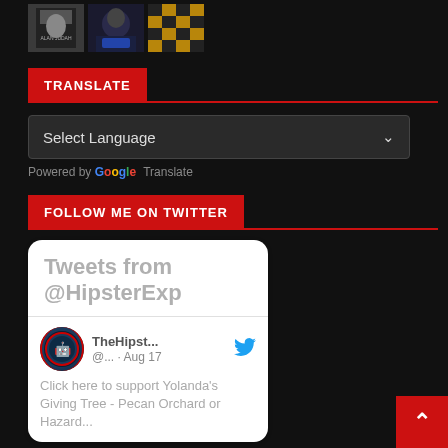[Figure (photo): Three small thumbnail images: a book cover, an anime character, and a gold/black checkerboard pattern]
TRANSLATE
[Figure (screenshot): Select Language dropdown widget with chevron arrow]
Powered by Google Translate
FOLLOW ME ON TWITTER
[Figure (screenshot): Twitter widget showing Tweets from @HipsterExp, with a tweet from TheHipst... @... · Aug 17 saying Click here to support Yolanda's Giving Tree - Pecan Orchard or Hazard...]